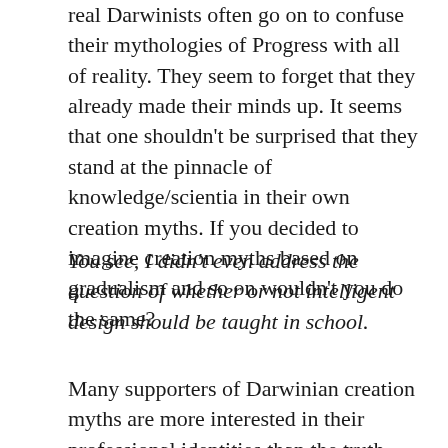real Darwinists often go on to confuse their mythologies of Progress with all of reality. They seem to forget that they already made their minds up. It seems that one shouldn't be surprised that they stand at the pinnacle of knowledge/scientia in their own creation myths. If you decided to imagine creation myths based on gradualism and so on wouldn't you do the same?
You see, I didn't even address the question of whether or not intelligent design should be taught in school.
Many supporters of Darwinian creation myths are more interested in their professional identities than the truth. Given their own